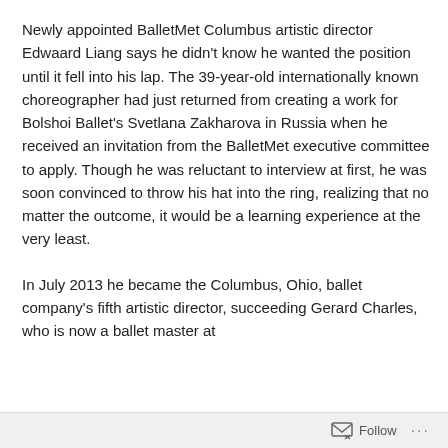Newly appointed BalletMet Columbus artistic director Edwaard Liang says he didn't know he wanted the position until it fell into his lap. The 39-year-old internationally known choreographer had just returned from creating a work for Bolshoi Ballet's Svetlana Zakharova in Russia when he received an invitation from the BalletMet executive committee to apply. Though he was reluctant to interview at first, he was soon convinced to throw his hat into the ring, realizing that no matter the outcome, it would be a learning experience at the very least.
In July 2013 he became the Columbus, Ohio, ballet company's fifth artistic director, succeeding Gerard Charles, who is now a ballet master at
Follow ···